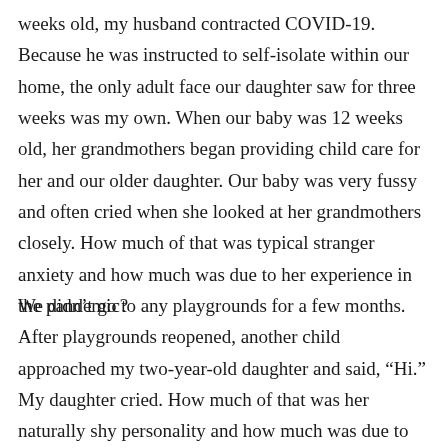weeks old, my husband contracted COVID-19. Because he was instructed to self-isolate within our home, the only adult face our daughter saw for three weeks was my own. When our baby was 12 weeks old, her grandmothers began providing child care for her and our older daughter. Our baby was very fussy and often cried when she looked at her grandmothers closely. How much of that was typical stranger anxiety and how much was due to her experience in the pandemic?
We didn't go to any playgrounds for a few months. After playgrounds reopened, another child approached my two-year-old daughter and said, “Hi.” My daughter cried. How much of that was her naturally shy personality and how much was due to